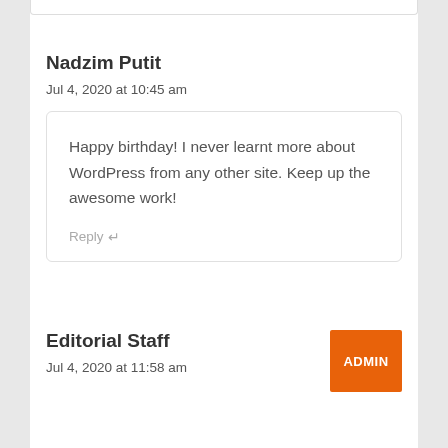Nadzim Putit
Jul 4, 2020 at 10:45 am
Happy birthday! I never learnt more about WordPress from any other site. Keep up the awesome work!
Reply
Editorial Staff
ADMIN
Jul 4, 2020 at 11:58 am